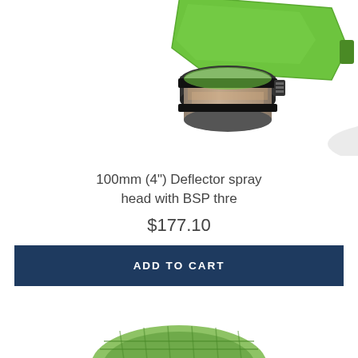[Figure (photo): A bright green 100mm deflector spray head with BSP thread, showing the plastic deflector plate on top and a metal clamp band around the body, photographed from above at an angle against a white background.]
100mm (4") Deflector spray head with BSP thre
$177.10
ADD TO CART
[Figure (photo): Partial view of a second green circular spray head product at the bottom of the page, only the top portion visible.]